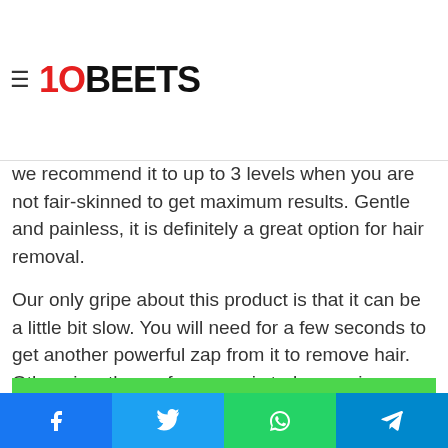10BEETS
be safe and effective. In fact, people who have tried it report a reduction in hair growth just after 4 treatments. There are several levels to it but we recommend it to up to 3 levels when you are not fair-skinned to get maximum results. Gentle and painless, it is definitely a great option for hair removal.
Our only gripe about this product is that it can be a little bit slow. You will need for a few seconds to get another powerful zap from it to remove hair. Otherwise, the performance is truly amazing.
Pros
Clinically proven to be safe and effective